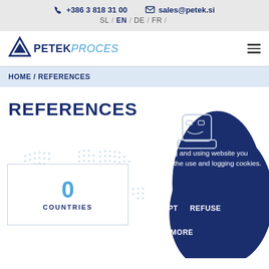+386 3 818 31 00  |  sales@petek.si
SL / EN / DE / FR /
[Figure (logo): Petek Proces company logo with blue triangle icon and text PETEKPROCES]
HOME / REFERENCES
REFERENCES
[Figure (infographic): Cookie consent popup with robot/bot icon on a dark blue blob shape, text: By visiting and using website you agree to the use and logging cookies. Buttons: ACCEPT, REFUSE, READ MORE]
[Figure (infographic): World map dotted background with stat box showing '0' and label 'COUNTRIES']